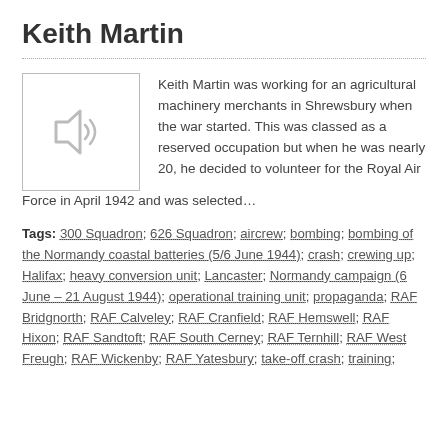Keith Martin
[Figure (photo): Placeholder image with speaker/audio icon in a bordered box]
Keith Martin was working for an agricultural machinery merchants in Shrewsbury when the war started. This was classed as a reserved occupation but when he was nearly 20, he decided to volunteer for the Royal Air Force in April 1942 and was selected…
Tags: 300 Squadron; 626 Squadron; aircrew; bombing; bombing of the Normandy coastal batteries (5/6 June 1944); crash; crewing up; Halifax; heavy conversion unit; Lancaster; Normandy campaign (6 June – 21 August 1944); operational training unit; propaganda; RAF Bridgnorth; RAF Calveley; RAF Cranfield; RAF Hemswell; RAF Hixon; RAF Sandtoft; RAF South Cerney; RAF Ternhill; RAF West Freugh; RAF Wickenby; RAF Yatesbury; take-off crash; training;